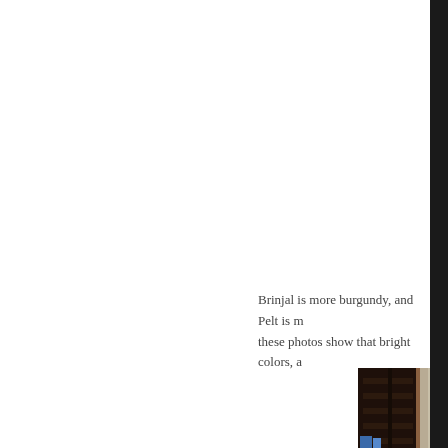Brinjal is more burgundy, and Pelt is m these photos show that bright colors, a
[Figure (photo): Interior photo showing dark wood shelving or cabinetry, partially cropped, with cream/beige wall in background]